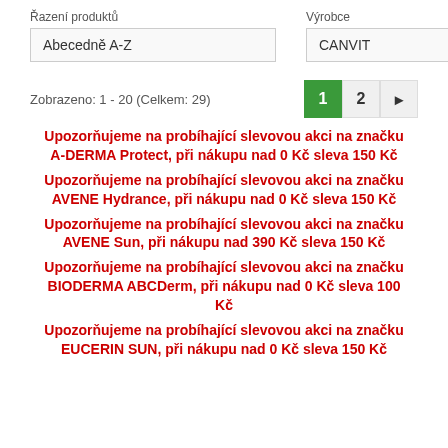Řazení produktů
Výrobce
Abecedně A-Z
CANVIT
Zobrazeno: 1 - 20 (Celkem: 29)
1 2 →
Upozorňujeme na probíhající slevovou akci na značku A-DERMA Protect, při nákupu nad 0 Kč sleva 150 Kč
Upozorňujeme na probíhající slevovou akci na značku AVENE Hydrance, při nákupu nad 0 Kč sleva 150 Kč
Upozorňujeme na probíhající slevovou akci na značku AVENE Sun, při nákupu nad 390 Kč sleva 150 Kč
Upozorňujeme na probíhající slevovou akci na značku BIODERMA ABCDerm, při nákupu nad 0 Kč sleva 100 Kč
Upozorňujeme na probíhající slevovou akci na značku EUCERIN SUN, při nákupu nad 0 Kč sleva 150 Kč